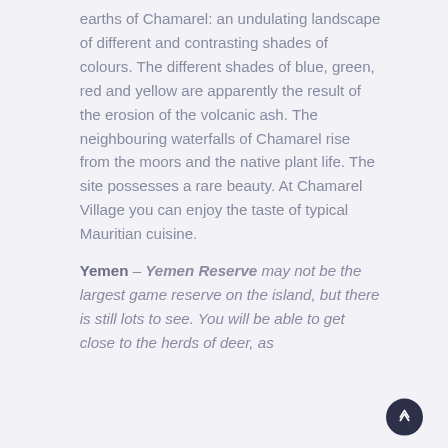earths of Chamarel: an undulating landscape of different and contrasting shades of colours. The different shades of blue, green, red and yellow are apparently the result of the erosion of the volcanic ash. The neighbouring waterfalls of Chamarel rise from the moors and the native plant life. The site possesses a rare beauty. At Chamarel Village you can enjoy the taste of typical Mauritian cuisine.
Yemen – Yemen Reserve may not be the largest game reserve on the island, but there is still lots to see. You will be able to get close to the herds of deer, as